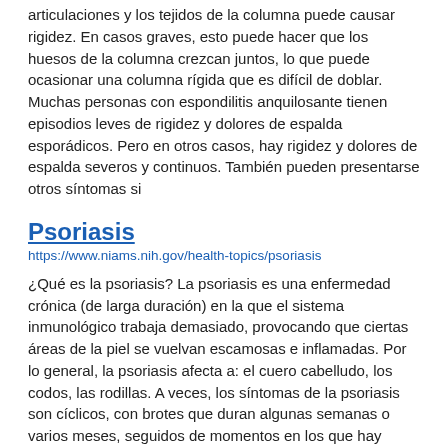articulaciones y los tejidos de la columna puede causar rigidez. En casos graves, esto puede hacer que los huesos de la columna crezcan juntos, lo que puede ocasionar una columna rígida que es difícil de doblar. Muchas personas con espondilitis anquilosante tienen episodios leves de rigidez y dolores de espalda esporádicos. Pero en otros casos, hay rigidez y dolores de espalda severos y continuos. También pueden presentarse otros síntomas si
Psoriasis
https://www.niams.nih.gov/health-topics/psoriasis
¿Qué es la psoriasis? La psoriasis es una enfermedad crónica (de larga duración) en la que el sistema inmunológico trabaja demasiado, provocando que ciertas áreas de la piel se vuelvan escamosas e inflamadas. Por lo general, la psoriasis afecta a: el cuero cabelludo, los codos, las rodillas. A veces, los síntomas de la psoriasis son cíclicos, con brotes que duran algunas semanas o varios meses, seguidos de momentos en los que hay mejoría (es decir, entran en remisión). Si tiene psoriasis, puede correr un mayor riesgo de tener otras afecciones graves, entre ellas: artritis psoriásica, ataques al corazón o accidentes
Osteonecrosis